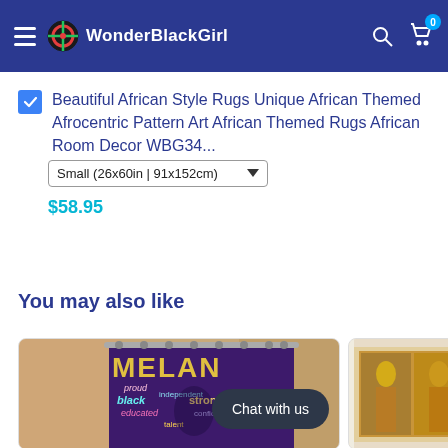WonderBlackGirl
Beautiful African Style Rugs Unique African Themed Afrocentric Pattern Art African Themed Rugs African Room Decor WBG34... Small (26x60in | 91x152cm) $58.95
You may also like
[Figure (photo): Shower curtain with melanin-themed word art (proud, independent, black, strong, educated, talent) and a stylized Black woman silhouette on a purple/orange background]
[Figure (photo): Framed art print or canvas partially visible showing fashion/lifestyle imagery with gold tones]